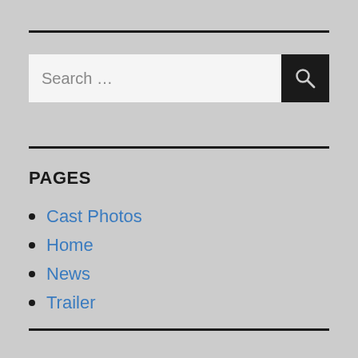[Figure (screenshot): Search bar with text input area showing 'Search ...' placeholder and a dark search button with a magnifying glass icon]
PAGES
Cast Photos
Home
News
Trailer